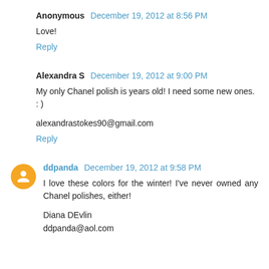Anonymous  December 19, 2012 at 8:56 PM
Love!
Reply
Alexandra S  December 19, 2012 at 9:00 PM
My only Chanel polish is years old! I need some new ones. : )
alexandrastokes90@gmail.com
Reply
ddpanda  December 19, 2012 at 9:58 PM
I love these colors for the winter! I've never owned any Chanel polishes, either!
Diana DEvlin
ddpanda@aol.com